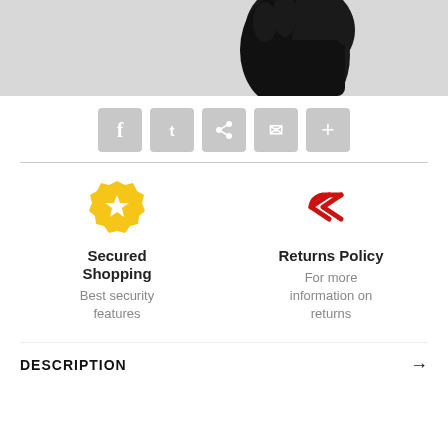[Figure (photo): Partial product photo showing a black item against a light gray background at the top of the page]
[Figure (infographic): Social sharing buttons row: Facebook, Twitter, Pinterest, Email, More (plus sign) — gray rounded square buttons]
[Figure (infographic): Secured Shopping feature block with gold badge/star icon, bold title 'Secured Shopping', and subtitle 'Best security features']
[Figure (infographic): Returns Policy feature block with red reply-arrow icon, bold title 'Returns Policy', and subtitle 'For more information on returns']
DESCRIPTION